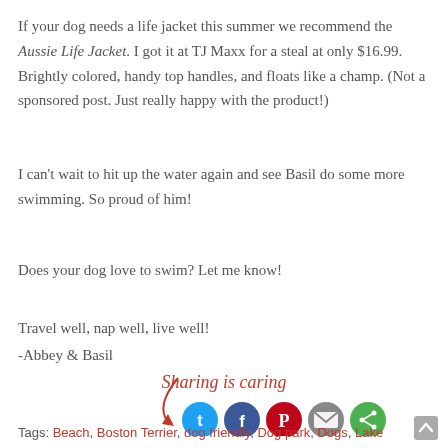If your dog needs a life jacket this summer we recommend the Aussie Life Jacket. I got it at TJ Maxx for a steal at only $16.99. Brightly colored, handy top handles, and floats like a champ. (Not a sponsored post. Just really happy with the product!)
I can't wait to hit up the water again and see Basil do some more swimming. So proud of him!
Does your dog love to swim? Let me know!
Travel well, nap well, live well!
-Abbey & Basil
[Figure (infographic): Sharing is caring section with cursive text, a red arrow, and five social media icon circles: Twitter (blue), Facebook (dark blue), Pinterest (red), Email (grey), and another sharing icon (green).]
Tags: Beach, Boston Terrier, dog friendly, Dog park, Dogs, Lake